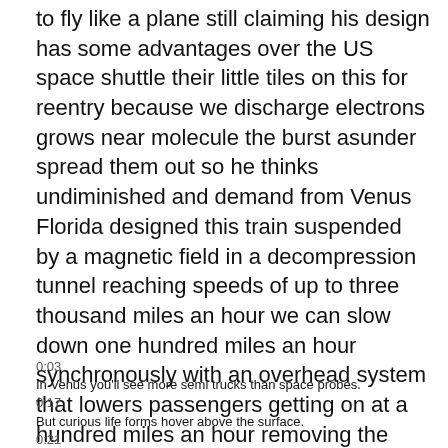to fly like a plane still claiming his design has some advantages over the US space shuttle their little tiles on this for reentry because we discharge electrons grows near molecule the burst asunder spread them out so he thinks undiminished and demand from Venus Florida designed this train suspended by a magnetic field in a decompression tunnel reaching speeds of up to three thousand miles an hour we can slow down one hundred miles an hour synchronously with an overhead system that lowers passengers getting on at a hundred miles an hour removing the passengers section had a hundred-dollar for those getting off unfortunately jacques transportation system isn't available yet so if you wanna come to Venus you'll have to drive it's just west of Lake Okeechobee of US Highway that's all from Venus I'm lights hours beam me up human Kelly
0:03
In Venus you'll see more semi trucks than space probes.
0:17
But curious life forms hover above the surface.
0:21